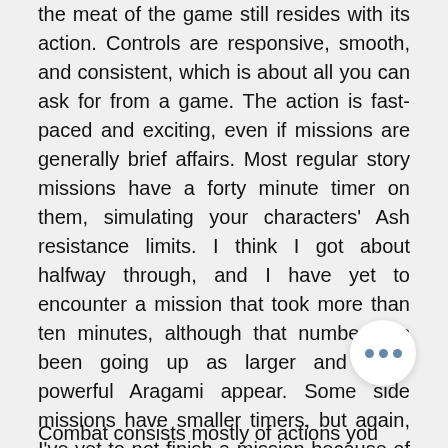the meat of the game still resides with its action. Controls are responsive, smooth, and consistent, which is about all you can ask for from a game. The action is fast-paced and exciting, even if missions are generally brief affairs. Most regular story missions have a forty minute timer on them, simulating your characters' Ash resistance limits. I think I got about halfway through, and I have yet to encounter a mission that took more than ten minutes, although that number has been going up as larger and more powerful Aragami appear. Some side missions have smaller timers, but again, I've yet to not finish a mission because of a time limit.
Combat consists mostly of actions you